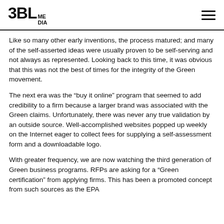3BL MEDIA
Like so many other early inventions, the process matured; and many of the self-asserted ideas were usually proven to be self-serving and not always as represented.  Looking back to this time, it was obvious that this was not the best of times for the integrity of the Green movement.
The next era was the “buy it online” program that seemed to add credibility to a firm because a larger brand was associated with the Green claims.  Unfortunately, there was never any true validation by an outside source.  Well-accomplished websites popped up weekly on the Internet eager to collect fees for supplying a self-assessment form and a downloadable logo.
With greater frequency, we are now watching the third generation of Green business programs.  RFPs are asking for a “Green certification” from applying firms.  This has been a promoted concept from such sources as the EPA